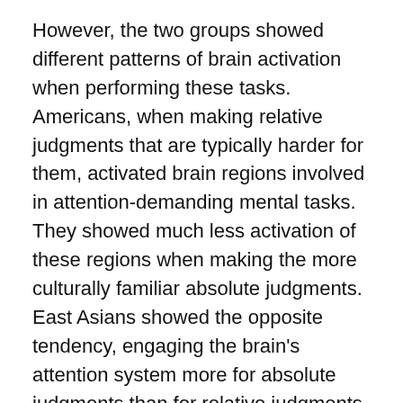However, the two groups showed different patterns of brain activation when performing these tasks. Americans, when making relative judgments that are typically harder for them, activated brain regions involved in attention-demanding mental tasks. They showed much less activation of these regions when making the more culturally familiar absolute judgments. East Asians showed the opposite tendency, engaging the brain's attention system more for absolute judgments than for relative judgments.
"We were surprised at the magnitude of the difference between the two cultural groups, and also at how widespread the engagement of the brain's attention system became when making judgments